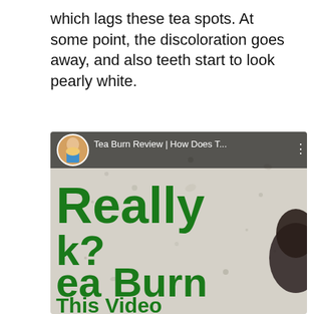which lags these tea spots. At some point, the discoloration goes away, and also teeth start to look pearly white.
[Figure (screenshot): Screenshot of a YouTube video thumbnail for 'Tea Burn Review | How Does T...' showing large green bold text reading 'Really', 'k?', 'ea Burn', 'This Video' on a stone/concrete textured background, with a person's head visible on the right side. The video overlay bar shows a circular avatar of a woman in fitness clothing and the video title.]